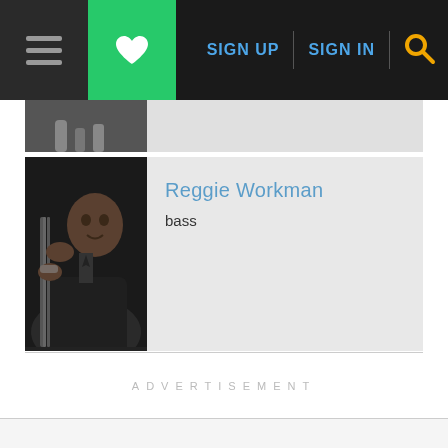SIGN UP  SIGN IN
[Figure (photo): Partially visible black and white photo of a musician at top of page, cut off]
[Figure (photo): Black and white photo of Reggie Workman playing upright bass]
Reggie Workman
bass
ADVERTISEMENT